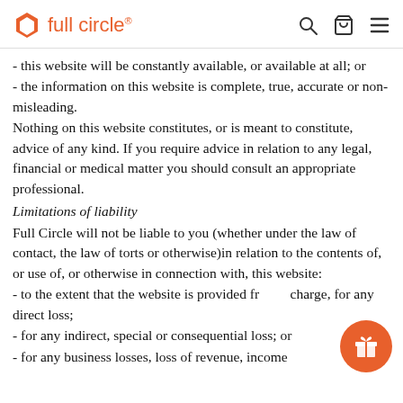full circle®
- this website will be constantly available, or available at all; or
- the information on this website is complete, true, accurate or non-misleading.
Nothing on this website constitutes, or is meant to constitute, advice of any kind. If you require advice in relation to any legal, financial or medical matter you should consult an appropriate professional.
Limitations of liability
Full Circle will not be liable to you (whether under the law of contact, the law of torts or otherwise)in relation to the contents of, or use of, or otherwise in connection with, this website:
- to the extent that the website is provided free of charge, for any direct loss;
- for any indirect, special or consequential loss; or
- for any business losses, loss of revenue, income